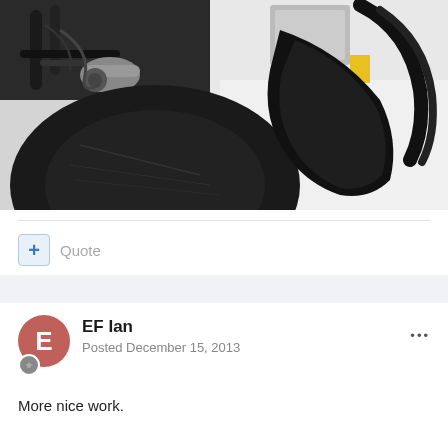[Figure (photo): Close-up photograph of a racing motorcycle or vehicle showing a large black tire, carbon fiber bodywork/fairing, roll bar/hoop, and mechanical components including handlebars and engine parts in a garage/workshop setting]
+ Quote
EF Ian
Posted December 15, 2013
More nice work.